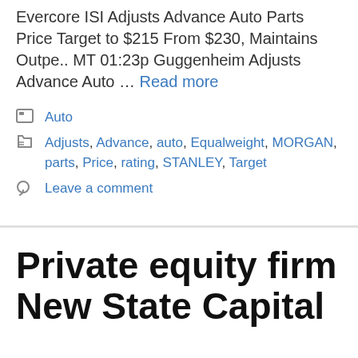Evercore ISI Adjusts Advance Auto Parts Price Target to $215 From $230, Maintains Outpe.. MT 01:23p Guggenheim Adjusts Advance Auto … Read more
Auto
Adjusts, Advance, auto, Equalweight, MORGAN, parts, Price, rating, STANLEY, Target
Leave a comment
Private equity firm New State Capital